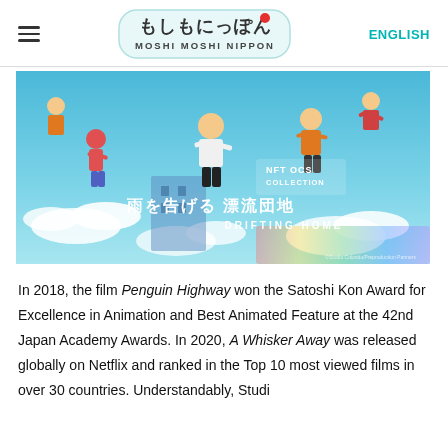Moshi Moshi Nippon — ENGLISH
[Figure (illustration): Anime movie poster for 'Drifting Home' (雨を告げる 漂流団地) showing animated characters floating in a blue sky with clouds. Text includes 'NFT OCS COLLECTION', Japanese title '雨を告げる 漂流団地', and 'DRIFTING HOME'.]
In 2018, the film Penguin Highway won the Satoshi Kon Award for Excellence in Animation and Best Animated Feature at the 42nd Japan Academy Awards. In 2020, A Whisker Away was released globally on Netflix and ranked in the Top 10 most viewed films in over 30 countries. Understandably, Studi